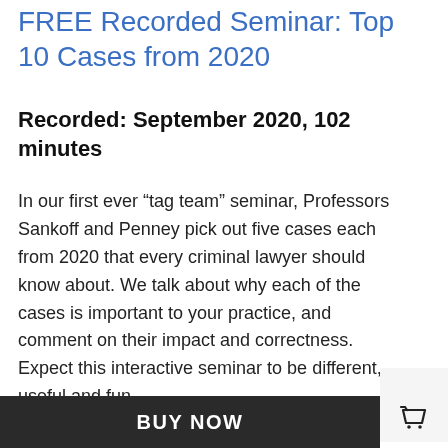FREE Recorded Seminar: Top 10 Cases from 2020
Recorded: September 2020, 102 minutes
In our first ever “tag team” seminar, Professors Sankoff and Penney pick out five cases each from 2020 that every criminal lawyer should know about. We talk about why each of the cases is important to your practice, and comment on their impact and correctness. Expect this interactive seminar to be different, useful and fun.
BUY NOW